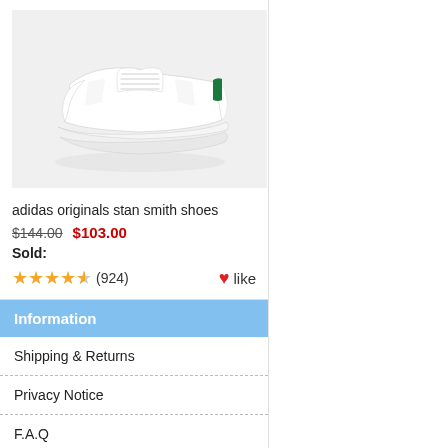[Figure (photo): White Adidas Originals Stan Smith sneaker shoe with green heel tab, photographed at an angle on a light gray background.]
adidas originals stan smith shoes
$144.00  $103.00
Sold:
★★★★½ (924)   ♥like
Information
Shipping & Returns
Privacy Notice
F.A.Q
Contact Us
Site Map
Gift Certificate FAQ